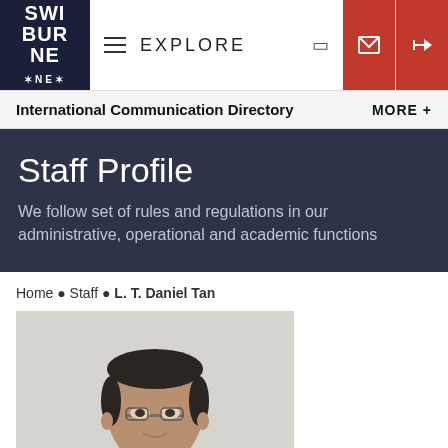SWINBURNE — EXPLORE
International Communication Directory — MORE +
Staff Profile
We follow set of rules and regulations in our administrative, operational and academic functions
Home › Staff › L. T. Daniel Tan
[Figure (photo): Portrait photo of L. T. Daniel Tan, a man in professional attire with glasses, photographed against a light grey background]